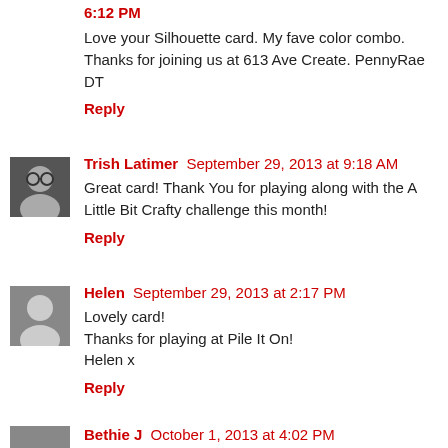6:12 PM
Love your Silhouette card. My fave color combo. Thanks for joining us at 613 Ave Create. PennyRae DT
Reply
Trish Latimer  September 29, 2013 at 9:18 AM
Great card! Thank You for playing along with the A Little Bit Crafty challenge this month!
Reply
Helen  September 29, 2013 at 2:17 PM
Lovely card!
Thanks for playing at Pile It On!
Helen x
Reply
Bethie J  October 1, 2013 at 4:02 PM